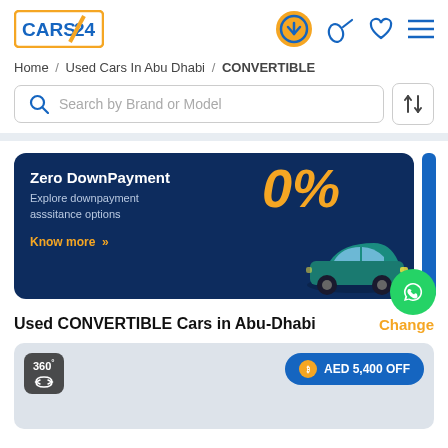[Figure (logo): CARS24 logo in orange bordered box with orange slash mark]
Home / Used Cars In Abu Dhabi / CONVERTIBLE
Search by Brand or Model
[Figure (infographic): Zero DownPayment banner with 0% in orange, teal SUV car image, dark navy background]
Used CONVERTIBLE Cars in Abu-Dhabi
Change
[Figure (photo): Car listing card with 360 degree badge and AED 5,400 OFF badge on grey background]